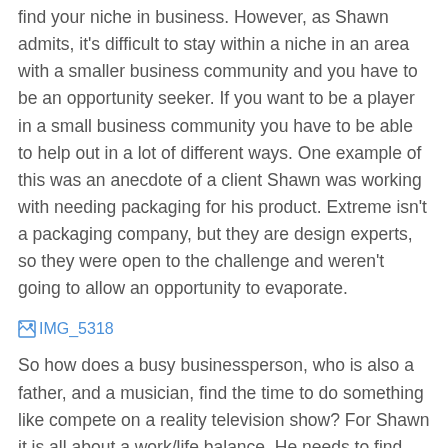find your niche in business.  However, as Shawn admits, it's difficult to stay within a niche in an area with a smaller business community and you have to be an opportunity seeker.  If you want to be a player in a small business community you have to be able to help out in a lot of different ways.  One example of this was an anecdote of a client Shawn was working with needing packaging for his product.  Extreme isn't a packaging company, but they are design experts, so they were open to the challenge and weren't going to allow an opportunity to evaporate.
[Figure (other): Broken image placeholder with link text 'IMG_5318']
So how does a busy businessperson, who is also a father, and a musician, find the time to do something like compete on a reality television show?  For Shawn it is all about a work/life balance.   He needs to find the time for his personal passions to be in the right headspace for work.  Shawn used to